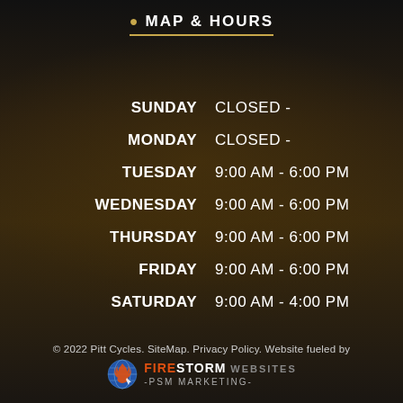MAP & HOURS
| Day | Hours |
| --- | --- |
| SUNDAY | CLOSED - |
| MONDAY | CLOSED - |
| TUESDAY | 9:00 AM - 6:00 PM |
| WEDNESDAY | 9:00 AM - 6:00 PM |
| THURSDAY | 9:00 AM - 6:00 PM |
| FRIDAY | 9:00 AM - 6:00 PM |
| SATURDAY | 9:00 AM - 4:00 PM |
© 2022 Pitt Cycles. SiteMap. Privacy Policy. Website fueled by FIRESTORM WEBSITES -PSM MARKETING-